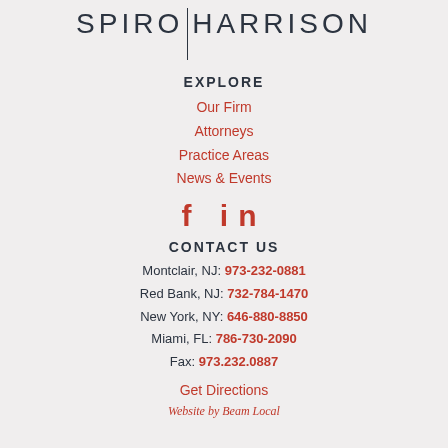[Figure (logo): Spiro Harrison law firm logo with firm name in uppercase and vertical divider line between the two names]
EXPLORE
Our Firm
Attorneys
Practice Areas
News & Events
[Figure (other): Social media icons: Facebook (f) and LinkedIn (in) in red]
CONTACT US
Montclair, NJ: 973-232-0881
Red Bank, NJ: 732-784-1470
New York, NY: 646-880-8850
Miami, FL: 786-730-2090
Fax: 973.232.0887
Get Directions
Website by Beam Local